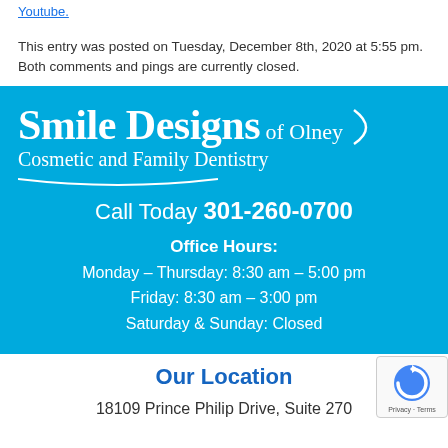Youtube.
This entry was posted on Tuesday, December 8th, 2020 at 5:55 pm. Both comments and pings are currently closed.
[Figure (logo): Smile Designs of Olney - Cosmetic and Family Dentistry banner with blue background, office hours, and phone number 301-260-0700]
Our Location
18109 Prince Philip Drive, Suite 270